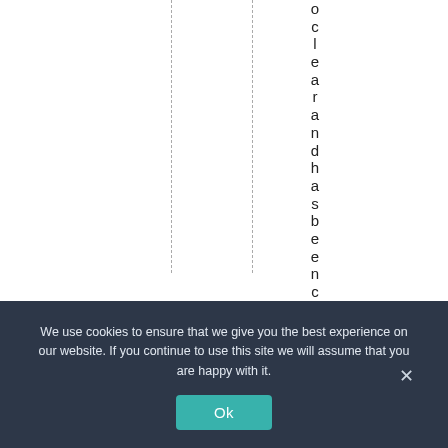oclearandhas beencl
We use cookies to ensure that we give you the best experience on our website. If you continue to use this site we will assume that you are happy with it.
Ok